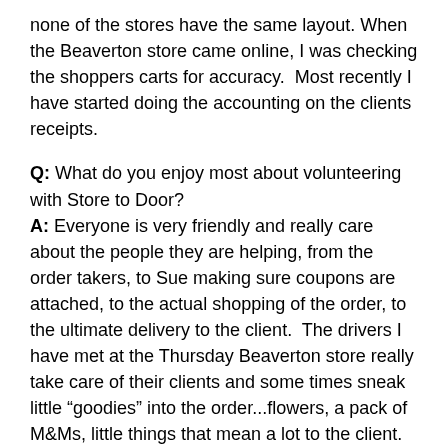none of the stores have the same layout. When the Beaverton store came online, I was checking the shoppers carts for accuracy.  Most recently I have started doing the accounting on the clients receipts.
Q: What do you enjoy most about volunteering with Store to Door?
A: Everyone is very friendly and really care about the people they are helping, from the order takers, to Sue making sure coupons are attached, to the actual shopping of the order, to the ultimate delivery to the client.  The drivers I have met at the Thursday Beaverton store really take care of their clients and some times sneak little “goodies” into the order...flowers, a pack of M&Ms, little things that mean a lot to the client.